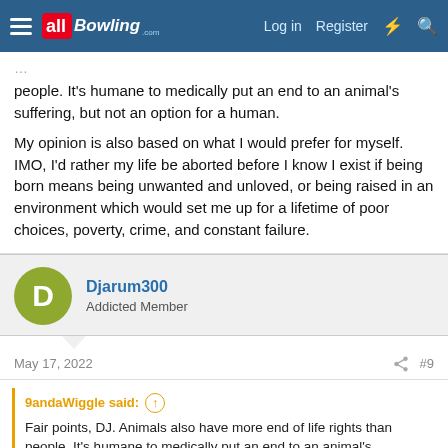allBowling.com — Log in | Register
people. It's humane to medically put an end to an animal's suffering, but not an option for a human.

My opinion is also based on what I would prefer for myself. IMO, I'd rather my life be aborted before I know I exist if being born means being unwanted and unloved, or being raised in an environment which would set me up for a lifetime of poor choices, poverty, crime, and constant failure.
Djarum300
Addicted Member
May 17, 2022   #9
9andaWiggle said:
Fair points, DJ. Animals also have more end of life rights than people. It's humane to medically put an end to an animal's suffering, but not an option for a human.